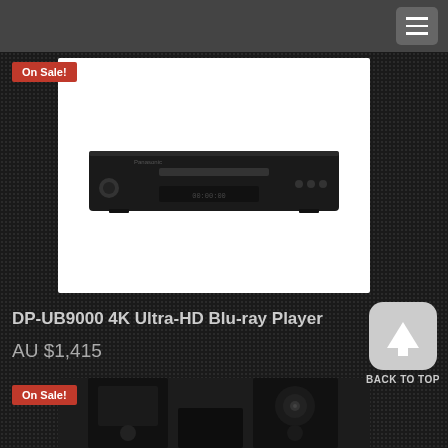Navigation menu
[Figure (photo): Panasonic DP-UB9000 4K Ultra-HD Blu-ray Player product photo on white background]
On Sale!
DP-UB9000 4K Ultra-HD Blu-ray Player
AU $1,415
[Figure (other): Back to top button with upward arrow icon]
BACK TO TOP
On Sale!
[Figure (photo): Bookshelf speakers product photo, two black speakers visible]